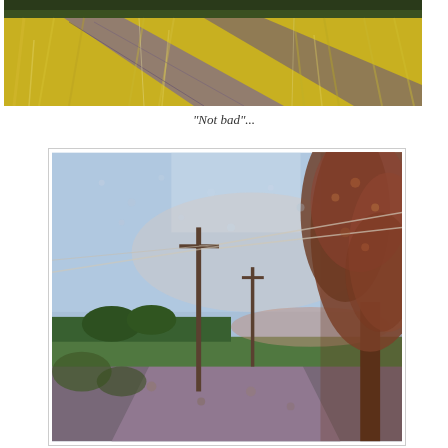[Figure (illustration): Close-up painting of golden-yellow wheat or grass field with purple-shadowed path or tire tracks running diagonally, impressionistic style with thick brushstrokes]
"Not bad"...
[Figure (illustration): Pointillist-style painting of a rural road scene with tall trees on the right, utility poles with wires on the left, blue sky, green fields in background, warm reddish-brown tree foliage]